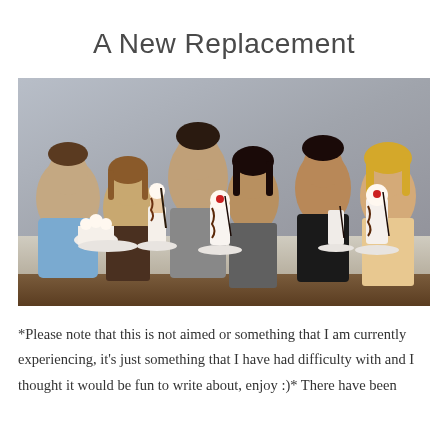A New Replacement
[Figure (photo): Group photo of six people (the cast of Friends TV show) leaning on a table with milkshakes and ice cream desserts in front of them, against a gray background.]
*Please note that this is not aimed or something that I am currently experiencing, it's just something that I have had difficulty with and I thought it would be fun to write about, enjoy :)* There have been